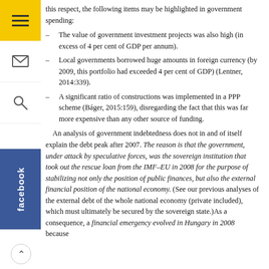this respect, the following items may be highlighted in government spending:
The value of government investment projects was also high (in excess of 4 per cent of GDP per annum).
Local governments borrowed huge amounts in foreign currency (by 2009, this portfolio had exceeded 4 per cent of GDP) (Lentner, 2014:339).
A significant ratio of constructions was implemented in a PPP scheme (Báger, 2015:159), disregarding the fact that this was far more expensive than any other source of funding.
An analysis of government indebtedness does not in and of itself explain the debt peak after 2007. The reason is that the government, under attack by speculative forces, was the sovereign institution that took out the rescue loan from the IMF–EU in 2008 for the purpose of stabilizing not only the position of public finances, but also the external financial position of the national economy. (See our previous analyses of the external debt of the whole national economy (private included), which must ultimately be secured by the sovereign state.)As a consequence, a financial emergency evolved in Hungary in 2008 because